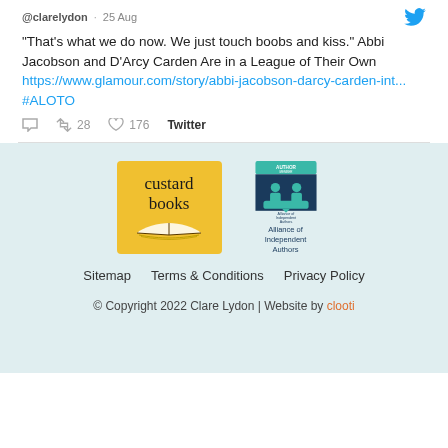@clarelydon · 25 Aug
"That's what we do now. We just touch boobs and kiss." Abbi Jacobson and D'Arcy Carden Are in a League of Their Own https://www.glamour.com/story/abbi-jacobson-darcy-carden-int... #ALOTO
28 retweets · 176 likes · Twitter
[Figure (logo): Custard Books yellow square logo with book illustration]
[Figure (logo): Alliance of Independent Authors author member badge]
Sitemap   Terms & Conditions   Privacy Policy
© Copyright 2022 Clare Lydon | Website by clooti